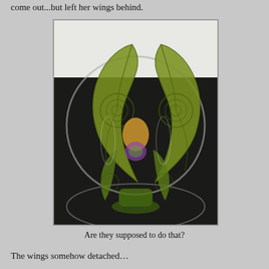come out...but left her wings behind.
[Figure (photo): A Tinkerbell toy/doll with translucent green fairy wings decorated with swirling patterns, sitting inside what appears to be a clear plastic ball or container on a dark surface.]
Are they supposed to do that?
The wings somehow detached themselves in the plastic housing...